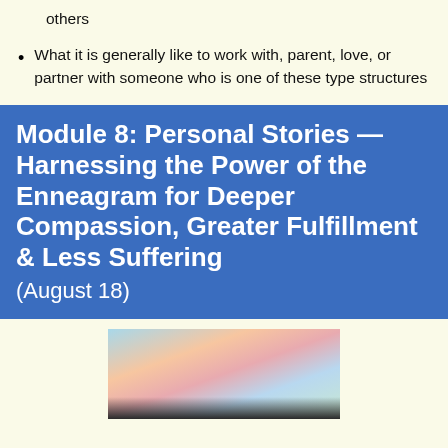others
What it is generally like to work with, parent, love, or partner with someone who is one of these type structures
Module 8: Personal Stories — Harnessing the Power of the Enneagram for Deeper Compassion, Greater Fulfillment & Less Suffering (August 18)
[Figure (photo): Colorful sky scene with silhouettes at the bottom, featuring blue, peach, and pink tones suggesting sunrise or sunset clouds]